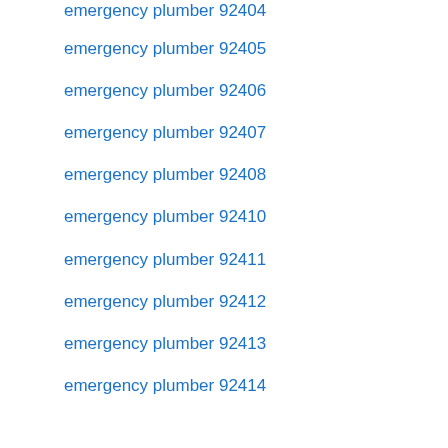emergency plumber 92404
emergency plumber 92405
emergency plumber 92406
emergency plumber 92407
emergency plumber 92408
emergency plumber 92410
emergency plumber 92411
emergency plumber 92412
emergency plumber 92413
emergency plumber 92414